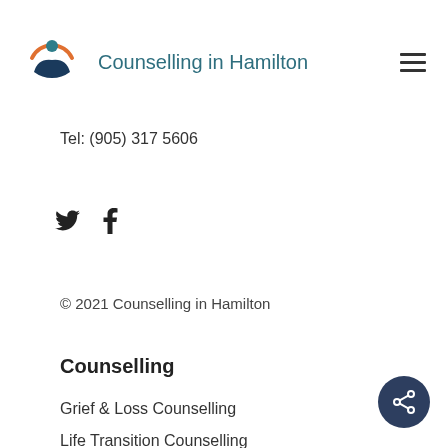[Figure (logo): Counselling in Hamilton logo: circular emblem with orange arc, teal circle at top, dark blue wave/hands shape, with text 'Counselling in Hamilton' beside it and hamburger menu icon on the right]
Tel: (905) 317 5606
[Figure (illustration): Twitter bird icon and Facebook 'f' icon social media links]
© 2021 Counselling in Hamilton
Counselling
Grief & Loss Counselling
Life Transition Counselling